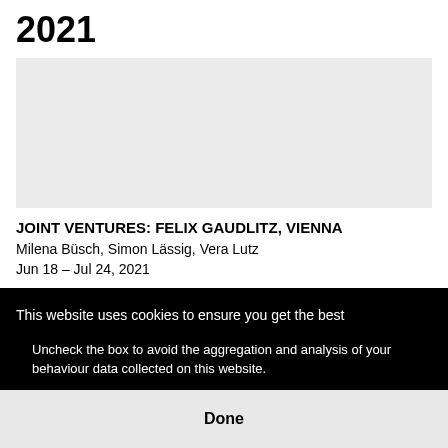2021
[Figure (photo): Light gray rectangular image placeholder area]
JOINT VENTURES: FELIX GAUDLITZ, VIENNA
Milena Büsch, Simon Lässig, Vera Lutz
Jun 18 – Jul 24, 2021
This website uses cookies to ensure you get the best
Uncheck the box to avoid the aggregation and analysis of your behaviour data collected on this website.
Done